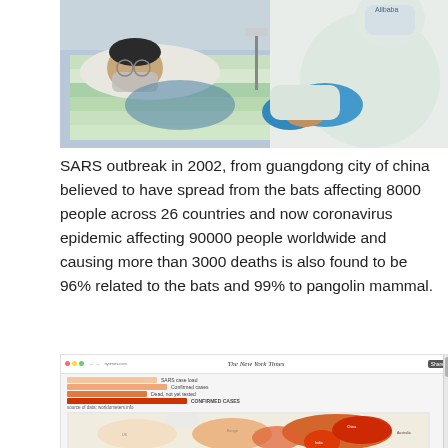[Figure (photo): Hospital scene showing a patient lying in a hospital bed wearing a face mask, with a healthcare worker in full PPE (white protective suit and blue gloves) attending to the patient.]
SARS outbreak in 2002, from guangdong city of china believed to have spread from the bats affecting 8000 people across 26 countries and now coronavirus epidemic affecting 90000 people worldwide and causing more than 3000 deaths is also found to be 96% related to the bats and 99% to pangolin mammal.
[Figure (map): Screenshot of The New York Times webpage showing a world map with coronavirus case distribution, with a legend showing SARS case load, Confirmed cases, Dead, and Confirmed cases lines in orange/red colors. The map shows affected regions highlighted in orange and red.]